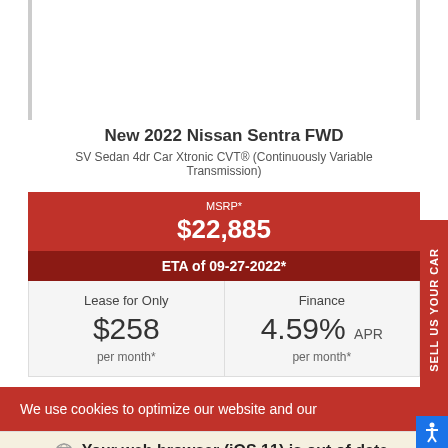New 2022 Nissan Sentra FWD
SV Sedan 4dr Car Xtronic CVT® (Continuously Variable Transmission)
MSRP*
$22,885
ETA of 09-27-2022*
Lease for Only
$258
per month*
Finance
4.59% APR
per month*
We use cookies to optimize our website and our
Your web browser (iOS 11) is out of date. Update your browser for more security, speed and the best experience on this site.